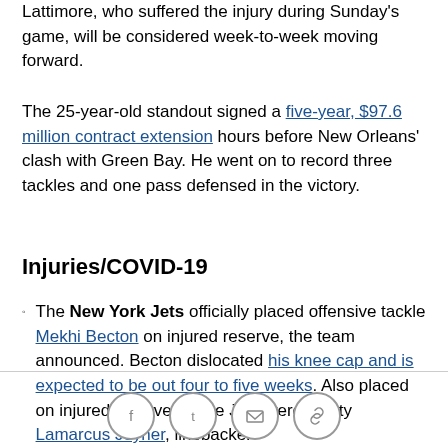Lattimore, who suffered the injury during Sunday's game, will be considered week-to-week moving forward.
The 25-year-old standout signed a five-year, $97.6 million contract extension hours before New Orleans' clash with Green Bay. He went on to record three tackles and one pass defensed in the victory.
Injuries/COVID-19
The New York Jets officially placed offensive tackle Mekhi Becton on injured reserve, the team announced. Becton dislocated his knee cap and is expected to be out four to five weeks. Also placed on injured reserve for the Jets were safety Lamarcus Joyner, linebacker